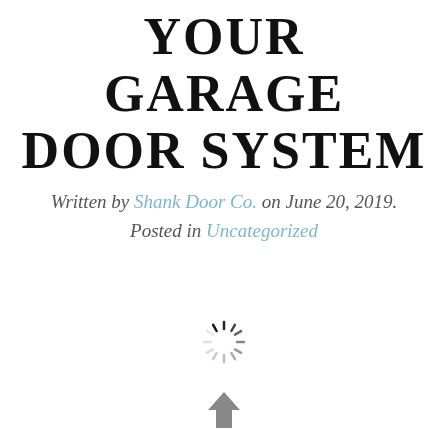YOUR GARAGE DOOR SYSTEM
Written by Shank Door Co. on June 20, 2019. Posted in Uncategorized
[Figure (other): Loading spinner icon — radiating dashes in a circular pattern]
[Figure (other): Upward-pointing arrow icon (grey)]